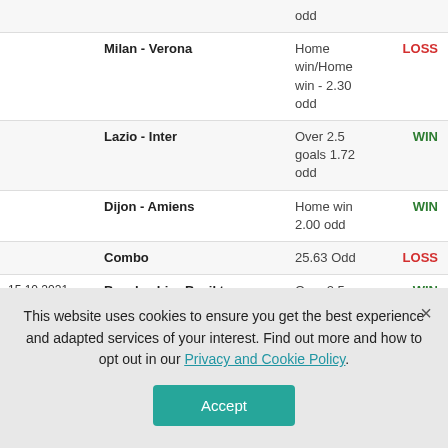| Date | Match | Bet | Result |
| --- | --- | --- | --- |
|  |  | odd |  |
|  | Milan - Verona | Home win/Home win - 2.30 odd | LOSS |
|  | Lazio - Inter | Over 2.5 goals 1.72 odd | WIN |
|  | Dijon - Amiens | Home win 2.00 odd | WIN |
|  | Combo | 25.63 Odd | LOSS |
| 15.10.2021 | Basaksehir - Besiktas | Over 2.5 goals 1.80 odd | WIN |
|  | Shamrock - Sligo Rovers | Over 2.5 goals 2.20 odd | LOSS |
|  | UC Dublin - Cork City | Home win 1.90 odd | WIN |
This website uses cookies to ensure you get the best experience and adapted services of your interest. Find out more and how to opt out in our Privacy and Cookie Policy.